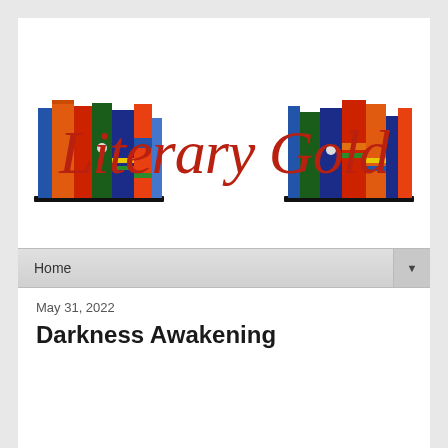[Figure (logo): Literary Gold blog logo: two illustrated bookshelves of colorful books on left and right, with red cursive text 'Literary Gold' in the center]
Home
May 31, 2022
Darkness Awakening